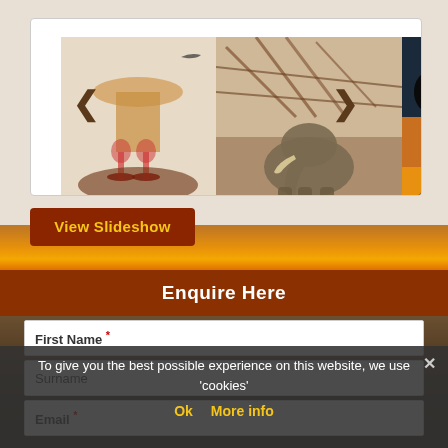[Figure (screenshot): Safari/travel website screenshot showing an image slideshow with three photo thumbnails: a table setting with wine glasses and lamp, an elephant at a waterhole in sepia tone, and a sunset silhouette. Left and right navigation arrows are visible.]
View Slideshow
Enquire Here
First Name *
Surname
Email *
To give you the best possible experience on this website, we use 'cookies'
Ok  More info